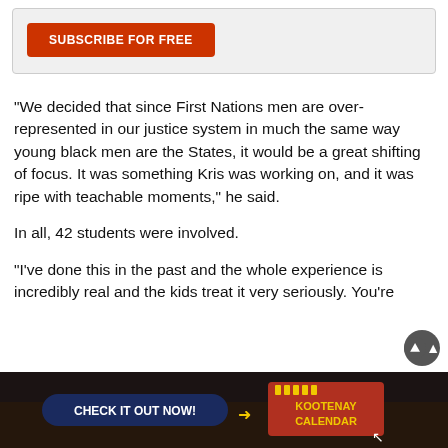[Figure (other): Subscribe for free button in a light grey box with red/orange background button labeled SUBSCRIBE FOR FREE]
“We decided that since First Nations men are over-represented in our justice system in much the same way young black men are the States, it would be a great shifting of focus. It was something Kris was working on, and it was ripe with teachable moments,” he said.
In all, 42 students were involved.
“I’ve done this in the past and the whole experience is incredibly real and the kids treat it very seriously. You’r…
[Figure (other): Advertisement banner: CHECK IT OUT NOW! with arrow pointing to KOOTENAY CALENDAR logo on dark background with crowd photo]